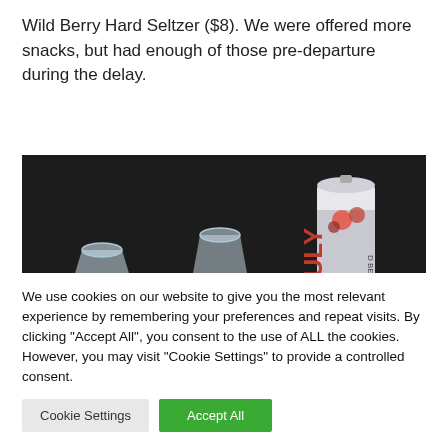Wild Berry Hard Seltzer ($8). We were offered more snacks, but had enough of those pre-departure during the delay.
[Figure (photo): Photo of two clear plastic cups and a Truly Wild Berry Hard Seltzer can on an airplane tray table against a dark background.]
We use cookies on our website to give you the most relevant experience by remembering your preferences and repeat visits. By clicking "Accept All", you consent to the use of ALL the cookies. However, you may visit "Cookie Settings" to provide a controlled consent.